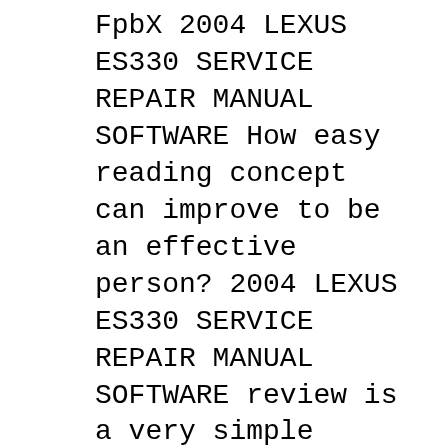FpbX 2004 LEXUS ES330 SERVICE REPAIR MANUAL SOFTWARE How easy reading concept can improve to be an effective person? 2004 LEXUS ES330 SERVICE REPAIR MANUAL SOFTWARE review is a very simple task. Yet, how many people can be lazy to read? They prefer to invest their idle time to talk or hang out. When in fact
Lexus ES330 2003,2004,2005,2006,2007,2008: Download Link. Have a doubt regarding on the specifics of your Lexus ES330 car's symptoms? Type your questions to a ASE certified,many years experience Lexus ES330 technician online,Get a Satisfaction Guarantee Answer from